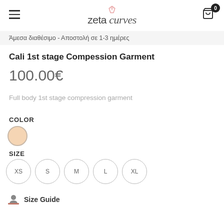zeta curves
Άμεσα διαθέσιμο - Αποστολή σε 1-3 ημέρες
Cali 1st stage Compession Garment
100.00€
Full body 1st stage compression garment
COLOR
[Figure (illustration): Beige/nude color swatch circle]
SIZE
XS  S  M  L  XL
Size Guide